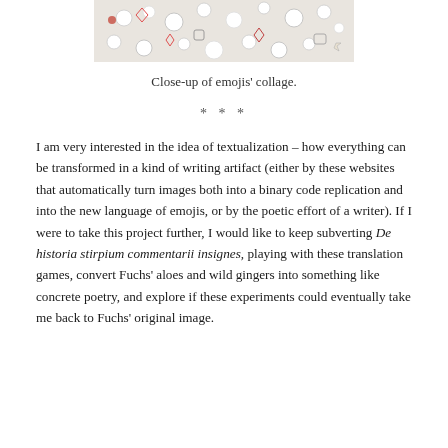[Figure (photo): Close-up photograph of an emojis collage showing various colorful emoji symbols densely packed together]
Close-up of emojis' collage.
* * *
I am very interested in the idea of textualization – how everything can be transformed in a kind of writing artifact (either by these websites that automatically turn images both into a binary code replication and into the new language of emojis, or by the poetic effort of a writer). If I were to take this project further, I would like to keep subverting De historia stirpium commentarii insignes, playing with these translation games, convert Fuchs' aloes and wild gingers into something like concrete poetry, and explore if these experiments could eventually take me back to Fuchs' original image.